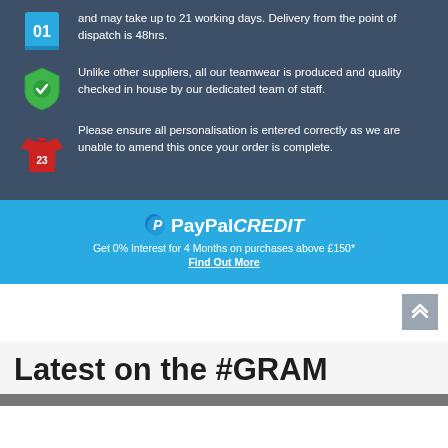and may take up to 21 working days. Delivery from the point of dispatch is 48hrs.
Unlike other suppliers, all our teamwear is produced and quality checked in house by our dedicated team of staff.
Please ensure all personalisation is entered correctly as we are unable to amend this once your order is complete.
[Figure (infographic): PayPal Credit logo with P icon and bold italic text reading PayPal CREDIT]
Get 0% Interest for 4 Months on purchases above £150*
Find Out More
Latest on the #GRAM